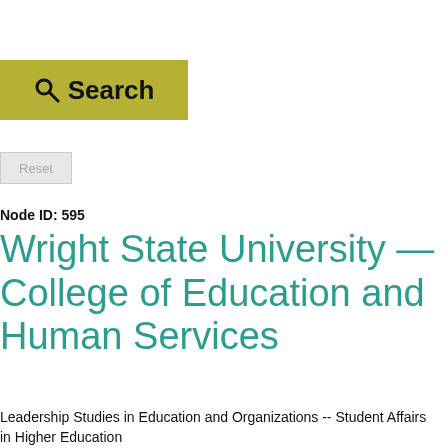[Figure (other): Search button with magnifying glass icon on olive/yellow-green background]
[Figure (other): Reset button with light gray background]
Node ID: 595
Wright State University — College of Education and Human Services
Leadership Studies in Education and Organizations -- Student Affairs in Higher Education